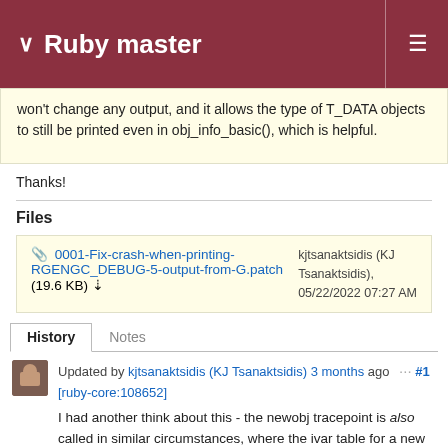Ruby master
won't change any output, and it allows the type of T_DATA objects to still be printed even in obj_info_basic(), which is helpful.
Thanks!
Files
0001-Fix-crash-when-printing-RGENGC_DEBUG-5-output-from-G.patch (19.6 KB) kjtsanaktsidis (KJ Tsanaktsidis), 05/22/2022 07:27 AM
History | Notes
Updated by kjtsanaktsidis (KJ Tsanaktsidis) 3 months ago  ··· #1 [ruby-core:108652]
I had another think about this - the newobj tracepoint is also called in similar circumstances, where the ivar table for a new T_CLASS won't be initialized yet (if using variable length RVALUEs). Thus, calling rb_obj_memsize_of() on an object in its newobj tracepoint hook will crash.